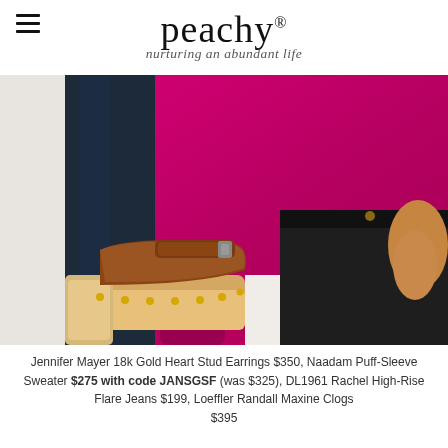peachy® — nurturing an abundant life
[Figure (photo): Fashion photo showing a woman wearing a bright magenta/fuchsia puff-sleeve sweater, black high-rise flare jeans, and brown leather Loeffler Randall Maxine clogs with wooden heel and gold studs. The photo is cropped to show the torso and shoes area, with a dark navy jean-clad leg visible on the left side.]
Jennifer Mayer 18k Gold Heart Stud Earrings $350, Naadam Puff-Sleeve Sweater $275 with code JANSGSF (was $325), DL1961 Rachel High-Rise Flare Jeans $199, Loeffler Randall Maxine Clogs $395